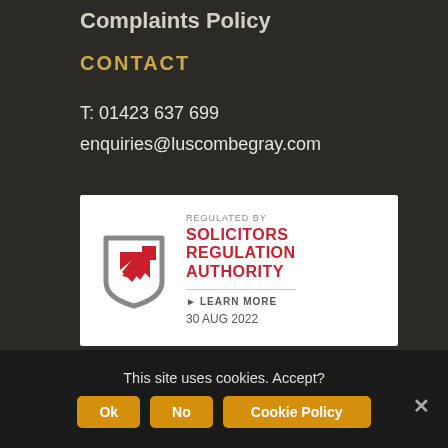Complaints Policy
CONTACT
T: 01423 637 699
enquiries@luscombegray.com
[Figure (logo): Solicitors Regulation Authority badge. Shows SRA shield logo with text: REGULATED BY SOLICITORS REGULATION AUTHORITY, LEARN MORE, 30 AUG 2022]
This site uses cookies. Accept?
Ok   No   Cookie Policy